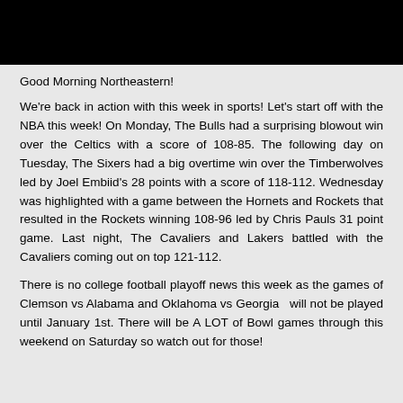[Figure (photo): Black banner/header image at the top of the page]
Good Morning Northeastern!
We're back in action with this week in sports! Let's start off with the NBA this week! On Monday, The Bulls had a surprising blowout win over the Celtics with a score of 108-85. The following day on Tuesday, The Sixers had a big overtime win over the Timberwolves led by Joel Embiid's 28 points with a score of 118-112. Wednesday was highlighted with a game between the Hornets and Rockets that resulted in the Rockets winning 108-96 led by Chris Pauls 31 point game. Last night, The Cavaliers and Lakers battled with the Cavaliers coming out on top 121-112.
There is no college football playoff news this week as the games of Clemson vs Alabama and Oklahoma vs Georgia  will not be played until January 1st. There will be A LOT of Bowl games through this weekend on Saturday so watch out for those!